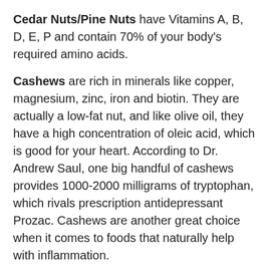Cedar Nuts/Pine Nuts have Vitamins A, B, D, E, P and contain 70% of your body's required amino acids.
Cashews are rich in minerals like copper, magnesium, zinc, iron and biotin. They are actually a low-fat nut, and like olive oil, they have a high concentration of oleic acid, which is good for your heart. According to Dr. Andrew Saul, one big handful of cashews provides 1000-2000 milligrams of tryptophan, which rivals prescription antidepressant Prozac. Cashews are another great choice when it comes to foods that naturally help with inflammation.
According to this peer-reviewed study, roasting almonds doubled the antioxidant activity and phenolic compounds in almond skins, better than freeze drying or oven drying.
If you ask me, you can choose any of the above and not go wrong. When my clients ask me for healthy snack options, I always offer up nuts! I love the crunch factor